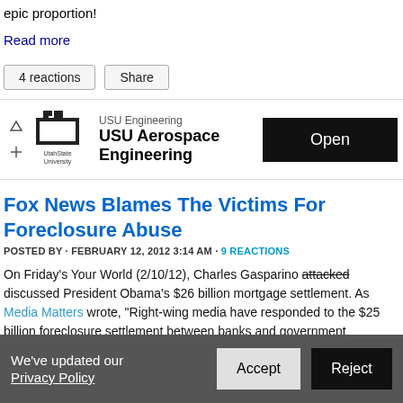epic proportion!
Read more
4 reactions   Share
[Figure (other): USU Aerospace Engineering advertisement banner with Utah State University logo and Open button]
Fox News Blames The Victims For Foreclosure Abuse
POSTED BY · FEBRUARY 12, 2012 3:14 AM · 9 REACTIONS
On Friday's Your World (2/10/12), Charles Gasparino attacked discussed President Obama's $26 billion mortgage settlement. As Media Matters wrote, "Right-wing media have responded to the $25 billion foreclosure settlement between banks and government authorities by attacking
We've updated our Privacy Policy   Accept   Reject